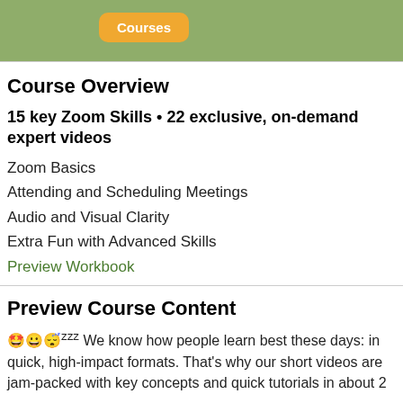Courses
Course Overview
15 key Zoom Skills • 22 exclusive, on-demand expert videos
Zoom Basics
Attending and Scheduling Meetings
Audio and Visual Clarity
Extra Fun with Advanced Skills
Preview Workbook
Preview Course Content
🤩😀😴zzz We know how people learn best these days: in quick, high-impact formats. That's why our short videos are jam-packed with key concepts and quick tutorials in about 2